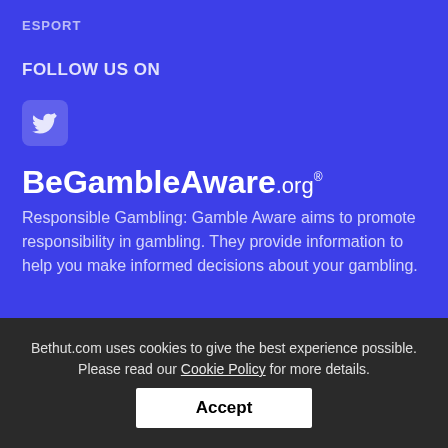ESPORT
FOLLOW US ON
[Figure (logo): Twitter bird icon in a rounded square button]
BeGambleAware.org®
Responsible Gambling: Gamble Aware aims to promote responsibility in gambling. They provide information to help you make informed decisions about your gambling.
Call the National Gambling Helpline: freephone 0808 8020 133 8am to midnight, 7 days a week.
Bethut.com uses cookies to give the best experience possible. Please read our Cookie Policy for more details.
Accept